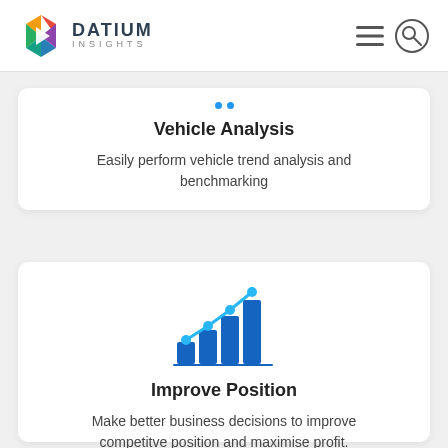DATIUM INSIGHTS
[Figure (other): Dots/carousel indicator showing two blue dots]
Vehicle Analysis
Easily perform vehicle trend analysis and benchmarking
[Figure (infographic): Blue bar chart with an upward trending line with dots, representing improve position icon]
Improve Position
Make better business decisions to improve competitve position and maximise profit.